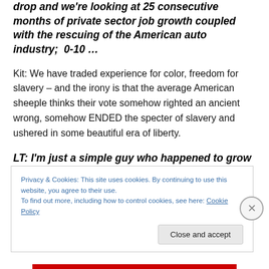drop and we're looking at 25 consecutive months of private sector job growth coupled with the rescuing of the American auto industry;  0-10 …
Kit: We have traded experience for color, freedom for slavery – and the irony is that the average American sheeple thinks their vote somehow righted an ancient wrong, somehow ENDED the specter of slavery and ushered in some beautiful era of liberty.
LT: I'm just a simple guy who happened to grow up in the south hearing racist comments all of the time and
Privacy & Cookies: This site uses cookies. By continuing to use this website, you agree to their use.
To find out more, including how to control cookies, see here: Cookie Policy